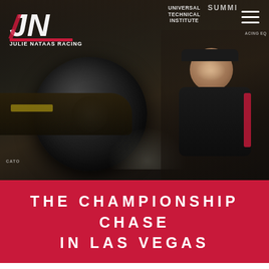[Figure (photo): Hero photograph of Julie Nataas Racing – a drag racing car with large rear tire visible on left, female driver/racer in black jacket and cap smiling on right side, racing track backdrop with sponsor banners including Universal Technical Institute and Summit. Dark atmospheric photo with overlay.]
THE CHAMPIONSHIP CHASE IN LAS VEGAS
November 6, 2020